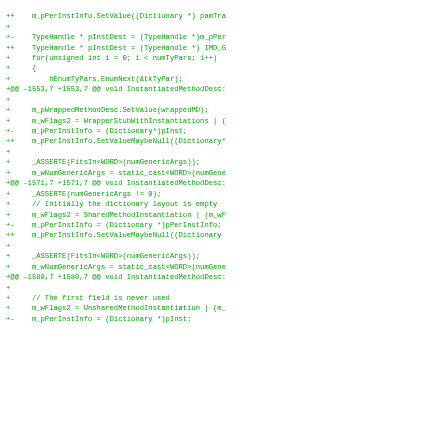[Figure (screenshot): A code diff screenshot showing green-colored diff lines of C++ source code for InstantiatedMethodDesc, displaying changes to type handle assignments, flag settings, and dictionary pointer assignments across three diff hunks at lines 1553, 1571, and 1589.]